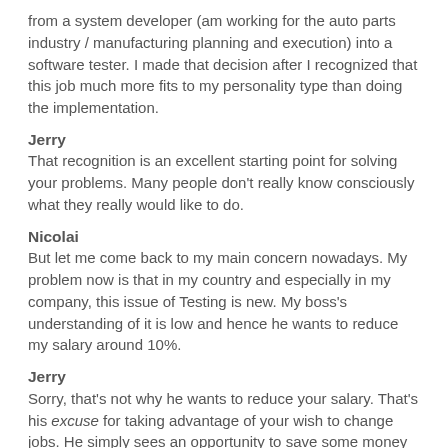from a system developer (am working for the auto parts industry / manufacturing planning and execution) into a software tester. I made that decision after I recognized that this job much more fits to my personality type than doing the implementation.
Jerry
That recognition is an excellent starting point for solving your problems. Many people don't really know consciously what they really would like to do.
Nicolai
But let me come back to my main concern nowadays. My problem now is that in my country and especially in my company, this issue of Testing is new. My boss's understanding of it is low and hence he wants to reduce my salary around 10%.
Jerry
Sorry, that's not why he wants to reduce your salary. That's his excuse for taking advantage of your wish to change jobs. He simply sees an opportunity to save some money at your